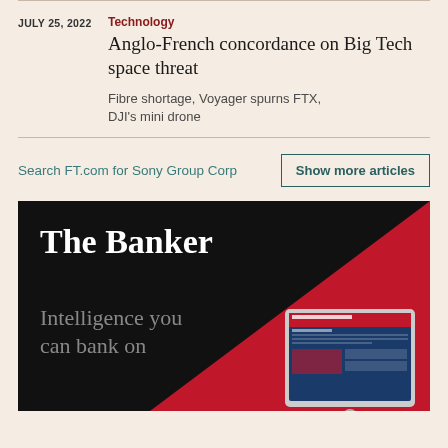JULY 25, 2022
Technology
Anglo-French concordance on Big Tech space threat
Fibre shortage, Voyager spurns FTX, DJI's mini drone
Search FT.com for Sony Group Corp
Show more articles
[Figure (photo): The Banker advertisement banner with black and red design, white serif title 'The Banker', grey tagline 'Intelligence you can bank on', and a tablet device mockup in the lower right corner.]